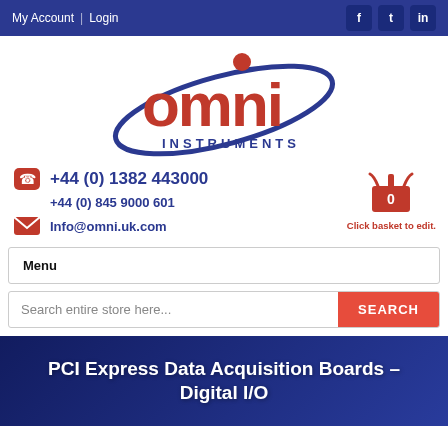My Account | Login
[Figure (logo): Omni Instruments logo — red 'omni' text with navy orbit ellipse and red dot, navy 'INSTRUMENTS' below]
+44 (0) 1382 443000
+44 (0) 845 9000 601
Info@omni.uk.com
0
Click basket to edit.
Menu
Search entire store here...
PCI Express Data Acquisition Boards – Digital I/O